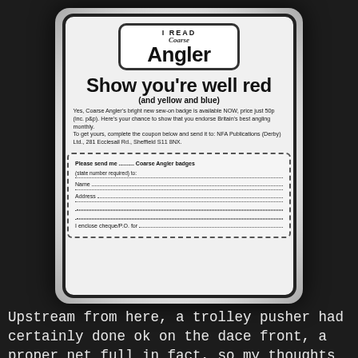[Figure (photo): Black and white photograph of a vintage 'Coarse Angler' magazine advertisement card. The card has a rounded rectangle shape with bold title 'I READ Coarse Angler', headline 'Show you're well red (and yellow and blue)', body text about a sew-on badge available for 50p, address for NFA Publications (Derby) Ltd., 281 Ecclesall Rd., Sheffield S11 8NX, and a detachable coupon form with fill-in fields for name, address, and enclosed cheque/P.O.]
Upstream from here, a trolley pusher had certainly done ok on the dace front, a proper net full in fact, so my thoughts were, maybe the Zander were laying dormant like they do during the day and then when the bars shutters were down, they'd be on